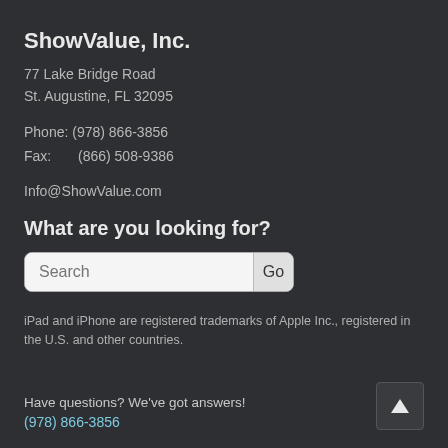ShowValue, Inc.
77 Lake Bridge Road
St. Augustine, FL 32095
Phone: (978) 866-3856
Fax:       (866) 508-9386
Info@ShowValue.com
What are you looking for?
[Figure (other): Search bar with text input field and Go button]
iPad and iPhone are registered trademarks of Apple Inc., registered in the U.S. and other countries.
Have questions? We've got answers!
(978) 866-3856